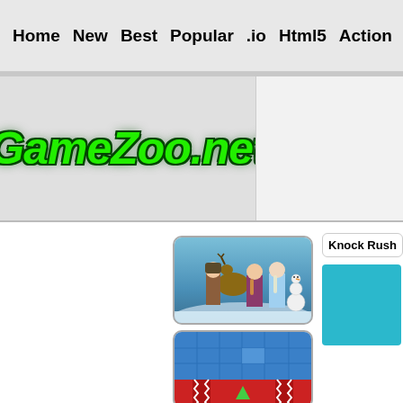Home  New  Best  Popular  .io  Html5  Action  Funny  Classic  S
[Figure (logo): GameZoo.net logo in bold green italic text with dark green outline]
Knock Rush
[Figure (screenshot): Frozen movie characters thumbnail - group photo of Anna, Elsa, Sven, Kristoff, Olaf in snowy setting]
[Figure (screenshot): Blue puzzle game thumbnail with grid pattern and red bottom section with zigzag pattern and green triangle]
[Figure (screenshot): Knock Rush game - teal/cyan colored game screenshot]